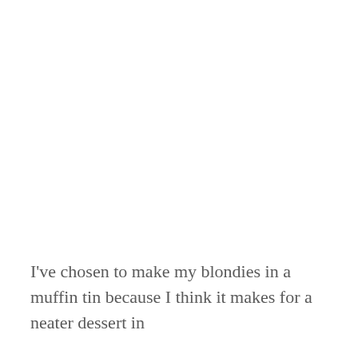I've chosen to make my blondies in a muffin tin because I think it makes for a neater dessert in